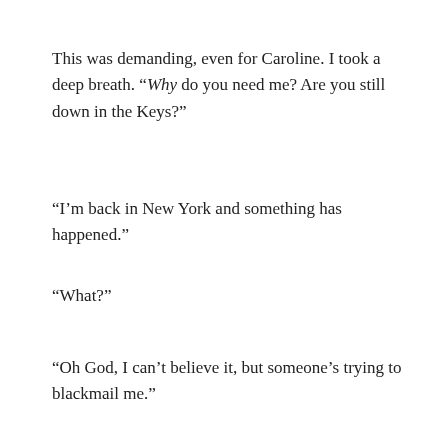This was demanding, even for Caroline. I took a deep breath. “Why do you need me? Are you still down in the Keys?”
“I’m back in New York and something has happened.”
“What?”
“Oh God, I can’t believe it, but someone’s trying to blackmail me.”